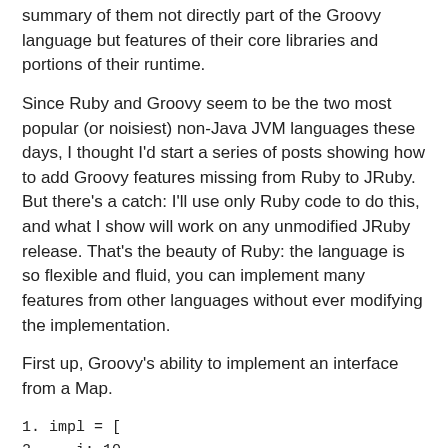summary of them not directly part of the Groovy language but features of their core libraries and portions of their runtime.
Since Ruby and Groovy seem to be the two most popular (or noisiest) non-Java JVM languages these days, I thought I'd start a series of posts showing how to add Groovy features missing from Ruby to JRuby. But there's a catch: I'll use only Ruby code to do this, and what I show will work on any unmodified JRuby release. That's the beauty of Ruby: the language is so flexible and fluid, you can implement many features from other languages without ever modifying the implementation.
First up, Groovy’s ability to implement an interface from a Map.
1. impl = [
2.    i: 10,
3.    hasNext: { impl.i > 0 },
4.    next: { impl.i-- },
5. ]
6. iter = impl as Iterator
7. while ( iter.hasNext() )